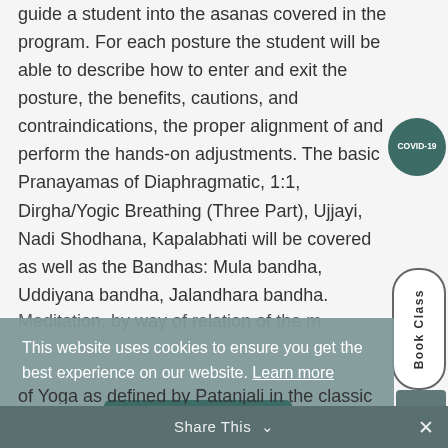guide a student into the asanas covered in the program. For each posture the student will be able to describe how to enter and exit the posture, the benefits, cautions, and contraindications, the proper alignment of and perform the hands-on adjustments. The basic Pranayamas of Diaphragmatic, 1:1, Dirgha/Yogic Breathing (Three Part), Ujjayi, Nadi Shodhana, Kapalabhati will be covered as well as the Bandhas: Mula bandha, Uddiyana bandha, Jalandhara bandha.
[Figure (other): COVID-19 circular badge/button in dark teal color]
[Figure (other): Book Class vertical button with rounded rectangle border]
This website uses cookies to ensure you get the best experience on our website. Learn more
Got it!
of Yoga as defined by Patanjali in the classic text,
Share This ∨